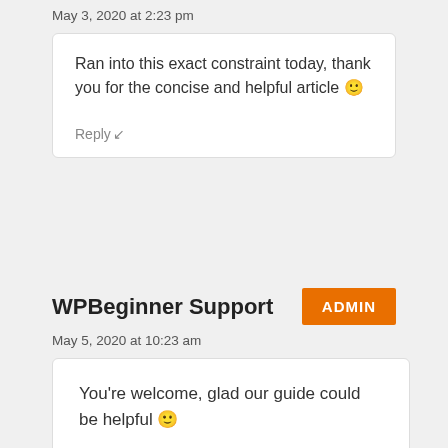May 3, 2020 at 2:23 pm
Ran into this exact constraint today, thank you for the concise and helpful article 🙂
Reply
WPBeginner Support
ADMIN
May 5, 2020 at 10:23 am
You're welcome, glad our guide could be helpful 🙂
Reply